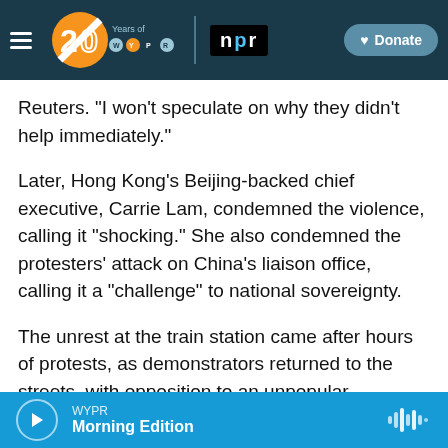WYPR 20 Years of WYPR | npr | Donate
Reuters. "I won't speculate on why they didn't help immediately."
Later, Hong Kong's Beijing-backed chief executive, Carrie Lam, condemned the violence, calling it "shocking." She also condemned the protesters' attack on China's liaison office, calling it a "challenge" to national sovereignty.
The unrest at the train station came after hours of protests, as demonstrators returned to the streets, with opposition to an unpopular extradition bill transforming into a demand that an independent
WYPR | Morning Edition